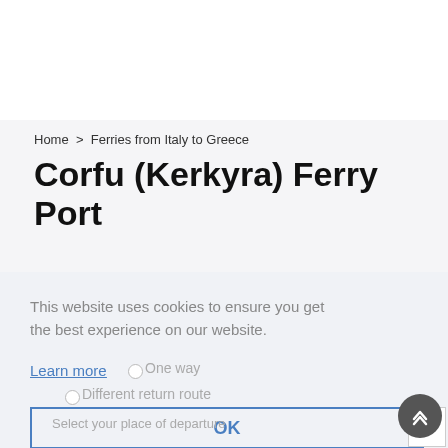Home > Ferries from Italy to Greece
Corfu (Kerkyra) Ferry Port
This website uses cookies to ensure you get the best experience on our website.
Learn more
OK